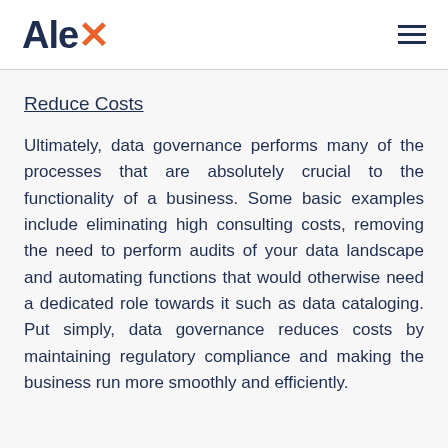Alex [logo]
Reduce Costs
Ultimately, data governance performs many of the processes that are absolutely crucial to the functionality of a business. Some basic examples include eliminating high consulting costs, removing the need to perform audits of your data landscape and automating functions that would otherwise need a dedicated role towards it such as data cataloging. Put simply, data governance reduces costs by maintaining regulatory compliance and making the business run more smoothly and efficiently.